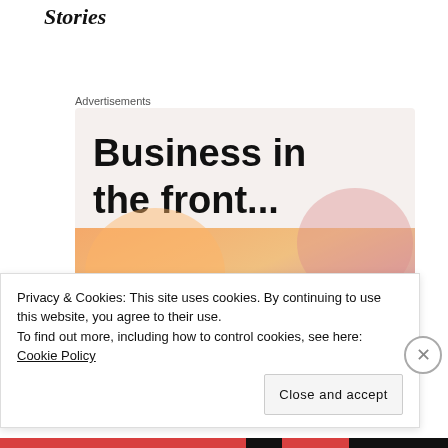Stories
Advertisements
[Figure (illustration): Advertisement banner showing 'Business in the front...' text on a light beige background at top, and 'WordPress in the back.' text on an orange/pink gradient with decorative blobs at bottom.]
Privacy & Cookies: This site uses cookies. By continuing to use this website, you agree to their use.
To find out more, including how to control cookies, see here: Cookie Policy
Close and accept